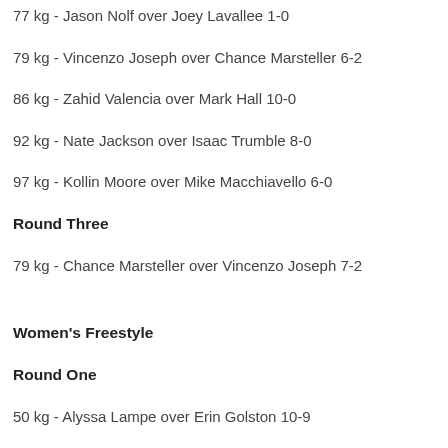77 kg - Jason Nolf over Joey Lavallee 1-0
79 kg - Vincenzo Joseph over Chance Marsteller 6-2
86 kg - Zahid Valencia over Mark Hall 10-0
92 kg - Nate Jackson over Isaac Trumble 8-0
97 kg - Kollin Moore over Mike Macchiavello 6-0
Round Three
79 kg - Chance Marsteller over Vincenzo Joseph 7-2
Women's Freestyle
Round One
50 kg - Alyssa Lampe over Erin Golston 10-9
55 kg - Jacarra Winchester over Lauren Mason 10-0